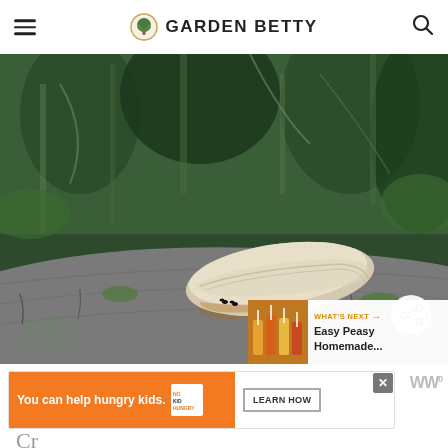GARDEN BETTY
[Figure (photo): A large shelf/bracket fungus growing on a weathered log in a lush green forest setting, photographed in close-up with bokeh background of trees and ferns]
[Figure (infographic): What's Next promo box showing juiced drinks thumbnail with text: Easy Peasy Homemade...]
[Figure (other): Share button (circular icon with share arrows and plus sign)]
[Figure (screenshot): Advertisement banner: You can help hungry kids. No Kid Hungry. Learn How. With close X button. WW logo on right.]
Cr